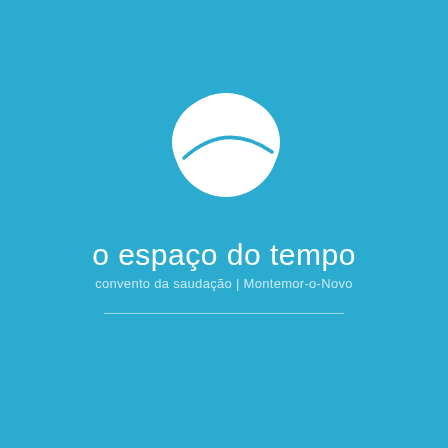[Figure (logo): White leaf/feather-shaped logo mark on blue background — an oval shape with a curved line suggesting a leaf or wing, all in white]
o espaço do tempo
convento da saudação | Montemor-o-Novo